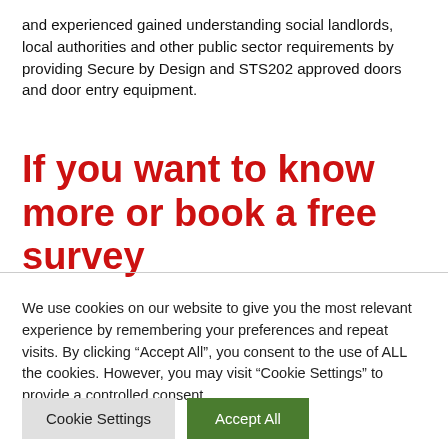and experienced gained understanding social landlords, local authorities and other public sector requirements by providing Secure by Design and STS202 approved doors and door entry equipment.
If you want to know more or book a free survey
We use cookies on our website to give you the most relevant experience by remembering your preferences and repeat visits. By clicking “Accept All”, you consent to the use of ALL the cookies. However, you may visit "Cookie Settings" to provide a controlled consent.